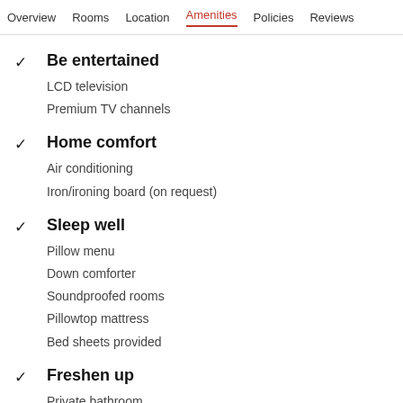Overview  Rooms  Location  Amenities  Policies  Reviews
Be entertained
LCD television
Premium TV channels
Home comfort
Air conditioning
Iron/ironing board (on request)
Sleep well
Pillow menu
Down comforter
Soundproofed rooms
Pillowtop mattress
Bed sheets provided
Freshen up
Private bathroom